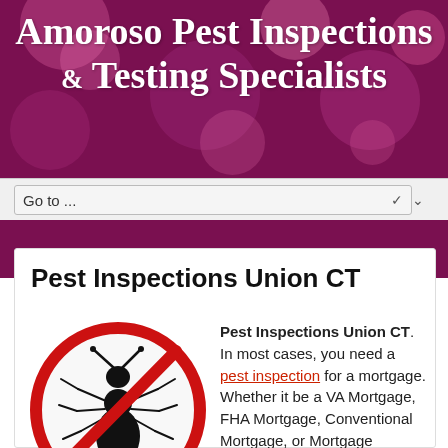Amoroso Pest Inspections & Testing Specialists
Go to ...
Pest Inspections Union CT
[Figure (illustration): A red circle with a diagonal slash (no-symbol) overlaid on a black ant illustration, indicating pest prohibition.]
Pest Inspections Union CT. In most cases, you need a pest inspection for a mortgage. Whether it be a VA Mortgage, FHA Mortgage, Conventional Mortgage, or Mortgage Refinance you are